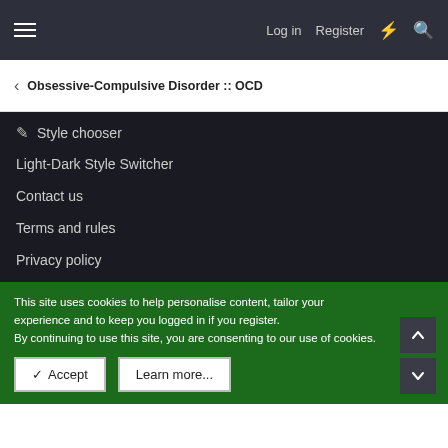Log in  Register
Obsessive-Compulsive Disorder :: OCD
Style chooser
Light-Dark Style Switcher
Contact us
Terms and rules
Privacy policy
This site uses cookies to help personalise content, tailor your experience and to keep you logged in if you register.
By continuing to use this site, you are consenting to our use of cookies.
Accept   Learn more...